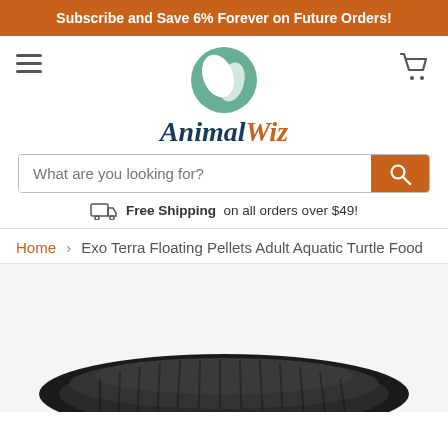Subscribe and Save 6% Forever on Future Orders!
[Figure (logo): AnimalWiz logo with green leaf/paw circular icon above stylized 'AnimalWiz' text in dark navy and orange]
What are you looking for?
Free Shipping on all orders over $49!
Home > Exo Terra Floating Pellets Adult Aquatic Turtle Food
[Figure (photo): Close-up photo of a dark/black round container lid (product jar top view) for Exo Terra floating pellets turtle food]